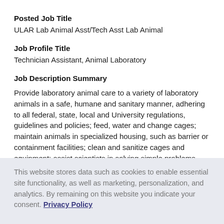Posted Job Title
ULAR Lab Animal Asst/Tech Asst Lab Animal
Job Profile Title
Technician Assistant, Animal Laboratory
Job Description Summary
Provide laboratory animal care to a variety of laboratory animals in a safe, humane and sanitary manner, adhering to all federal, state, local and University regulations, guidelines and policies; feed, water and change cages; maintain animals in specialized housing, such as barrier or containment facilities; clean and sanitize cages and equipment: assist scientists in solving simple problems
This website stores data such as cookies to enable essential site functionality, as well as marketing, personalization, and analytics. By remaining on this website you indicate your consent. Privacy Policy